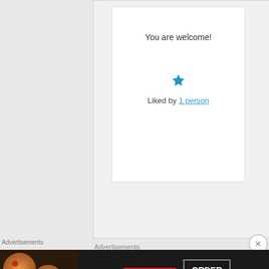You are welcome!
Liked by 1 person
Advertisements
[Figure (screenshot): Jetpack plugin advertisement banner on green background with logo and text: The best real-time WordPress backup plugin]
Advertisements
[Figure (screenshot): Seamless food ordering advertisement banner with pizza image, seamless logo, and ORDER NOW button on dark background]